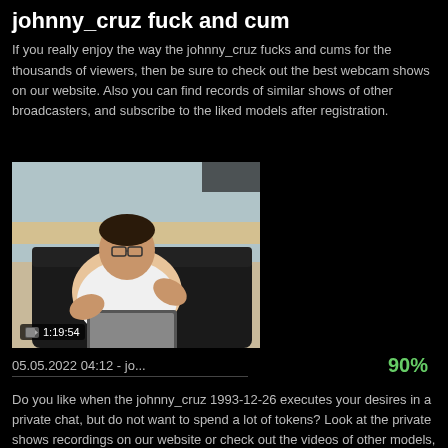johnny_cruz fuck and cum
If you really enjoy the way the johnny_cruz fucks and cums for the thousands of viewers, then be sure to check out the best webcam shows on our website. Also you can find records of similar shows of other broadcasters, and subscribe to the liked models after registration.
[Figure (photo): A man wearing glasses and a white t-shirt sitting on a black leather couch holding a laptop, with a timestamp overlay showing 1:19:54]
05.05.2022 04:12 - jo...    90%
Do you like when the johnny_cruz 1993-12-26 executes your desires in a private chat, but do not want to spend a lot of tokens? Look at the private shows recordings on our website or check out the videos of other models, maybe you will find something new for yourself!